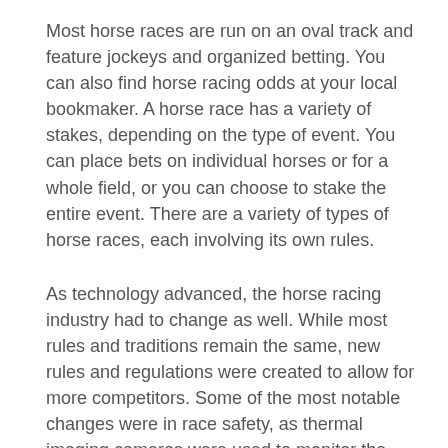Most horse races are run on an oval track and feature jockeys and organized betting. You can also find horse racing odds at your local bookmaker. A horse race has a variety of stakes, depending on the type of event. You can place bets on individual horses or for a whole field, or you can choose to stake the entire event. There are a variety of types of horse races, each involving its own rules.
As technology advanced, the horse racing industry had to change as well. While most rules and traditions remain the same, new rules and regulations were created to allow for more competitors. Some of the most notable changes were in race safety, as thermal imaging cameras were used to monitor the temperature of a horse post-race. New technology such as MRI scanners, X-rays, and endoscopes enabled veterinarians to detect minor health conditions and injuries before they lead to catastrophic outcomes. In addition, 3D printing was used to create casts, splints, and prosthetics